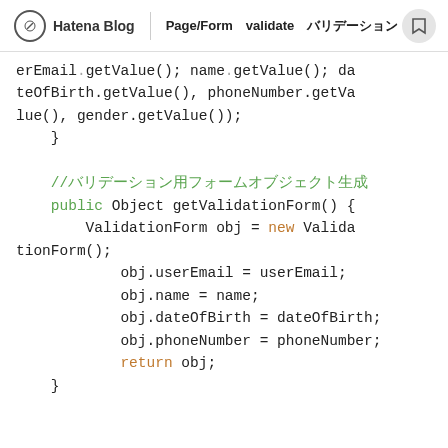Hatena Blog | Page/Form validate バリデーション
erEmail.getValue(), name.getValue(), dateOfBirth.getValue(), phoneNumber.getValue(), gender.getValue());
    }

    //バリデーション用フォームオブジェクト生成
    public Object getValidationForm() {
        ValidationForm obj = new ValidationForm();
        obj.userEmail = userEmail;
        obj.name = name;
        obj.dateOfBirth = dateOfBirth;
        obj.phoneNumber = phoneNumber;
        return obj;
    }